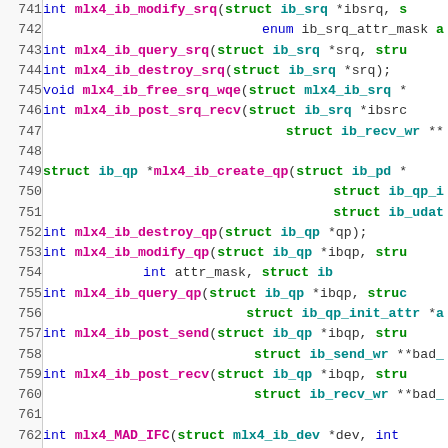[Figure (screenshot): Source code listing showing C function declarations with syntax highlighting. Line numbers 741-767 visible. Keywords in green/bold (struct, const, void, int, enum), function names in magenta/bold, type names in green/teal, plain text in dark. Code is truncated on the right side.]